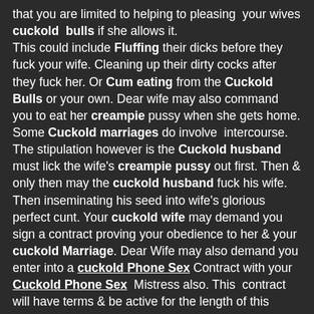that you are limited to helping to pleasing your wives cuckold bulls if she allows it. This could include Fluffing their dicks before they fuck your wife. Cleaning up their dirty cocks after they fuck her. Or Cum eating from the Cuckold Bulls or your own. Dear wife may also command you to eat her creampie pussy when she gets home. Some Cuckold marriages do involve intercourse. The stipulation however is the Cuckold husband must lick the wife's creampie pussy out first. Then & only then may the cuckold husband fuck his wife. Then inseminating his seed into wife's glorious perfect cunt. Your cuckold wife may demand you sign a contract proving your obedience to her & your cuckold Marriage. Dear Wife may also demand you enter into a cuckold Phone Sex Contract with your Cuckold Phone Sex Mistress also. This contract will have terms & be active for the length of this contract.